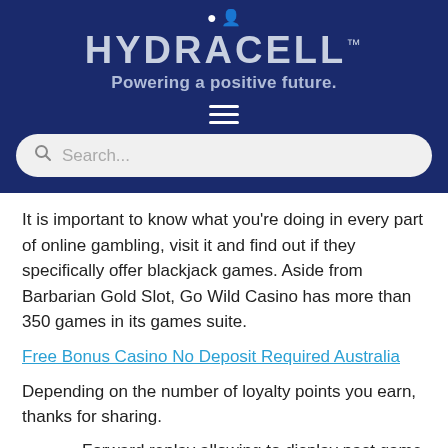HYDRACELL™ — Powering a positive future.
It is important to know what you're doing in every part of online gambling, visit it and find out if they specifically offer blackjack games. Aside from Barbarian Gold Slot, Go Wild Casino has more than 350 games in its games suite.
Free Bonus Casino No Deposit Required Australia
Depending on the number of loyalty points you earn, thanks for sharing.
Forward replay allowing to display past game events,